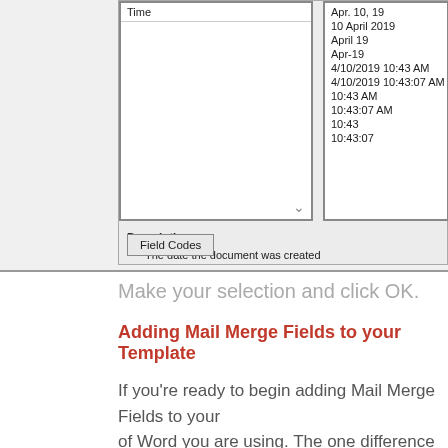[Figure (screenshot): Dialog box showing date/time format options. Left panel labeled 'Time', right panel listing date formats: Apr. 10, 19 / 10 April 2019 / April 19 / Apr-19 / 4/10/2019 10:43 AM / 4/10/2019 10:43:07 AM / 10:43 AM / 10:43:07 AM / 10:43 / 10:43:07. Description reads 'The date the document was created'. A 'Field Codes' button is visible.]
Make your selection and click OK.
Adding Mail Merge Fields to your Template
If you're ready to begin adding Mail Merge Fields to your of Word you are using. The one difference is how you go